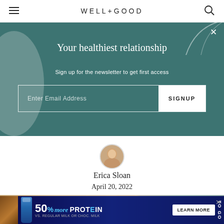WELL+GOOD
[Figure (screenshot): Newsletter signup banner with teal/dark green background. Title: 'Your healthiest relationship', subtitle: 'Sign up for the newsletter to get first access', with email input field and SIGNUP button.]
Your healthiest relationship
Sign up for the newsletter to get first access
[Figure (photo): Small circular portrait photo of Erica Sloan]
Erica Sloan
April 20, 2022
[Figure (photo): Blurred photo of a fluffy dog, warm toned background with bokeh]
[Figure (infographic): Advertisement banner: '50% more PROTEIN TO GO - LEARN MORE VS. REGULAR MILK OR CHOC. MILK' with protein drink bottle imagery on dark blue background]